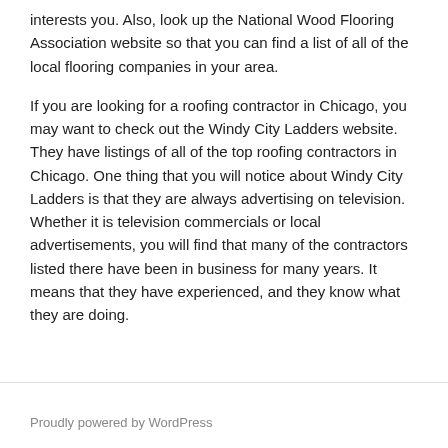interests you. Also, look up the National Wood Flooring Association website so that you can find a list of all of the local flooring companies in your area.
If you are looking for a roofing contractor in Chicago, you may want to check out the Windy City Ladders website. They have listings of all of the top roofing contractors in Chicago. One thing that you will notice about Windy City Ladders is that they are always advertising on television. Whether it is television commercials or local advertisements, you will find that many of the contractors listed there have been in business for many years. It means that they have experienced, and they know what they are doing.
Proudly powered by WordPress